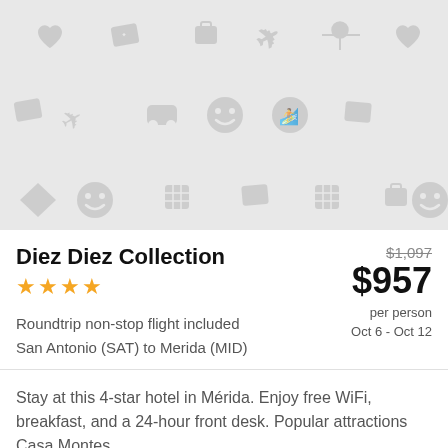[Figure (illustration): Light gray patterned background with travel-related icons: hearts, stars, airplanes, smiley faces, grid tickets, luggage, maps, location pins arranged in a repeating wallpaper pattern]
Diez Diez Collection
★★★★
$1,097 $957 per person Oct 6 - Oct 12
Roundtrip non-stop flight included San Antonio (SAT) to Merida (MID)
Stay at this 4-star hotel in Mérida. Enjoy free WiFi, breakfast, and a 24-hour front desk. Popular attractions Casa Montes...
[Figure (photo): Outdoor photo showing tree branches with green leaves against a blue sky, with a building visible on the right side]